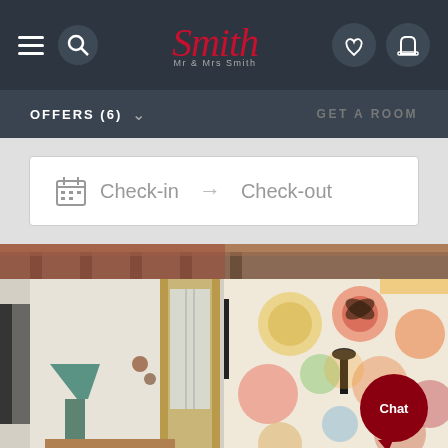Mr & Mrs Smith navigation bar with hamburger menu, search icon, logo, phone, heart, and luggage icons
OFFERS (6)
GET A ROOM
Check-in → Check-out
[Figure (photo): Hotel room with ornate wallpaper featuring large colorful floral patterns, exposed beam ceiling, golden curtains, a small table lamp with teal shade, and a chat bubble overlay in dark red reading 'Chat']